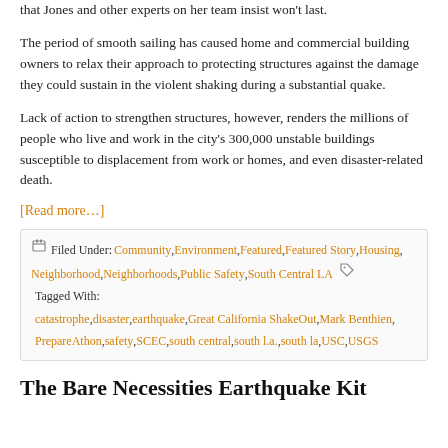that Jones and other experts on her team insist won't last.
The period of smooth sailing has caused home and commercial building owners to relax their approach to protecting structures against the damage they could sustain in the violent shaking during a substantial quake.
Lack of action to strengthen structures, however, renders the millions of people who live and work in the city's 300,000 unstable buildings susceptible to displacement from work or homes, and even disaster-related death.
[Read more…]
Filed Under: Community, Environment, Featured, Featured Story, Housing, Neighborhood, Neighborhoods, Public Safety, South Central LA Tagged With: catastrophe, disaster, earthquake, Great California ShakeOut, Mark Benthien, PrepareAthon, safety, SCEC, south central, south l.a., south la, USC, USGS
The Bare Necessities Earthquake Kit